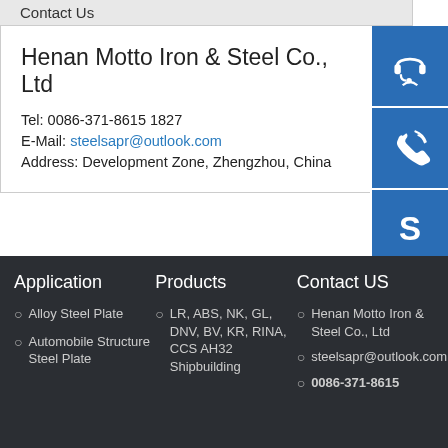Contact Us
Henan Motto Iron & Steel Co., Ltd
Tel: 0086-371-8615 1827
E-Mail: steelsapr@outlook.com
Address: Development Zone, Zhengzhou, China
[Figure (illustration): Three blue square icon buttons on the right side: customer service headset icon, phone/call icon, and Skype icon]
Application
Alloy Steel Plate
Automobile Structure Steel Plate
Products
LR, ABS, NK, GL, DNV, BV, KR, RINA, CCS AH32 Shipbuilding
Contact US
Henan Motto Iron & Steel Co., Ltd
steelsapr@outlook.com
0086-371-8615